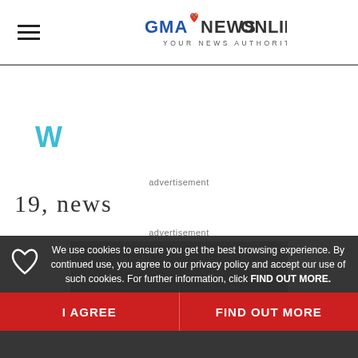GMA News Online — Your News Authority
[Figure (logo): GMA News Online logo with heart icon and tagline YOUR NEWS AUTHORITY]
advertisement
[Figure (other): Weather widget icon (teal/blue W shape)]
19, news
advertisement
[Figure (screenshot): Video thumbnail showing Next Story - Duterte orders probe of 9]
We use cookies to ensure you get the best browsing experience. By continued use, you agree to our privacy policy and accept our use of such cookies. For further information, click FIND OUT MORE.
I AGREE
FIND OUT MORE